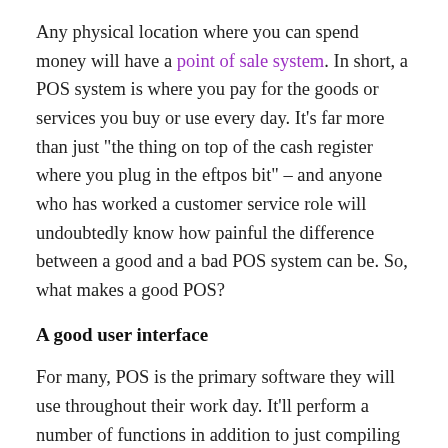Any physical location where you can spend money will have a point of sale system. In short, a POS system is where you pay for the goods or services you buy or use every day. It's far more than just "the thing on top of the cash register where you plug in the eftpos bit" – and anyone who has worked a customer service role will undoubtedly know how painful the difference between a good and a bad POS system can be. So, what makes a good POS?
A good user interface
For many, POS is the primary software they will use throughout their work day. It'll perform a number of functions in addition to just compiling a total for payment, and so it needs to have a user interface that is easy enough to operate but also robust enough to handle